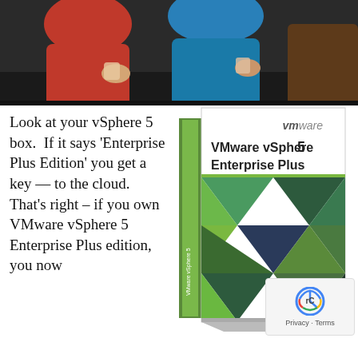[Figure (photo): Photo of people sitting around a table, partially visible from chest down, wearing colorful clothing (red, teal). Dark background. Image is cropped showing only the upper portion.]
Look at your vSphere 5 box.  If it says 'Enterprise Plus Edition' you get a key — to the cloud.  That's right – if you own VMware vSphere 5 Enterprise Plus edition, you now
[Figure (photo): VMware vSphere 5 Enterprise Plus product box. White and green box with VMware logo at top right, bold text 'VMware vSphere 5 Enterprise Plus', and decorative triangular geometric pattern in green, teal, and dark navy on the lower portion.]